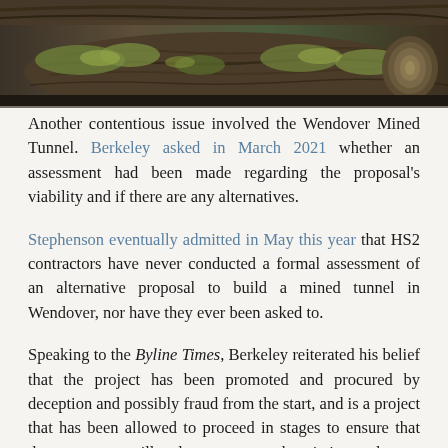[Figure (photo): Close-up photograph of a fallen tree trunk covered in moss and bark, with other logs visible in the background.]
Another contentious issue involved the Wendover Mined Tunnel. Berkeley asked in March 2021 whether an assessment had been made regarding the proposal's viability and if there are any alternatives.
Stephenson eventually admitted in May this year that HS2 contractors have never conducted a formal assessment of an alternative proposal to build a mined tunnel in Wendover, nor have they ever been asked to.
Speaking to the Byline Times, Berkeley reiterated his belief that the project has been promoted and procured by deception and possibly fraud from the start, and is a project that has been allowed to proceed in stages to ensure that the true costs will only come out when it is too late to change or cancel.